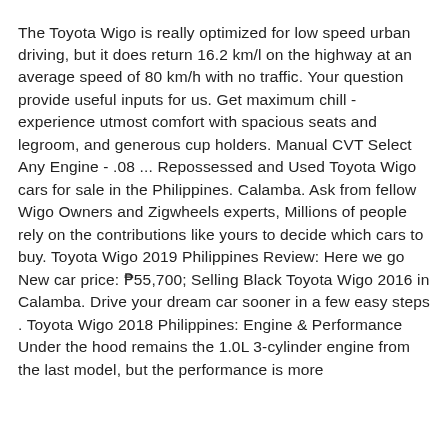The Toyota Wigo is really optimized for low speed urban driving, but it does return 16.2 km/l on the highway at an average speed of 80 km/h with no traffic. Your question provide useful inputs for us. Get maximum chill - experience utmost comfort with spacious seats and legroom, and generous cup holders. Manual CVT Select Any Engine - .08 ... Repossessed and Used Toyota Wigo cars for sale in the Philippines. Calamba. Ask from fellow Wigo Owners and Zigwheels experts, Millions of people rely on the contributions like yours to decide which cars to buy. Toyota Wigo 2019 Philippines Review: Here we go New car price: ₱55,700; Selling Black Toyota Wigo 2016 in Calamba. Drive your dream car sooner in a few easy steps . Toyota Wigo 2018 Philippines: Engine & Performance Under the hood remains the 1.0L 3-cylinder engine from the last model, but the performance is more